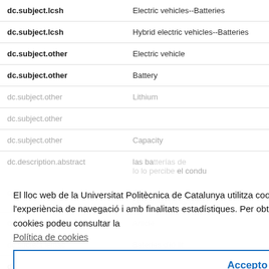| Field | Value |
| --- | --- |
| dc.subject.lcsh | Electric vehicles--Batteries |
| dc.subject.lcsh | Hybrid electric vehicles--Batteries |
| dc.subject.other | Electric vehicle |
| dc.subject.other | Battery |
| dc.subject.other | Lithium |
| dc.subject.other |  |
| dc.subject.other | Capacity |
| dc.description.abstract | las baterías de...lo percibe el condu... |
| dc.title.alternative | The electric vehicle battery ageing a...perceived by its driver |
| dc.type | Article |
| dc.subject.lemac | Bateries d'ió lit... |
| dc.subject.lemac | vehicles elèctrics -- Bateries |
El lloc web de la Universitat Politècnica de Catalunya utilitza cookies pròpies i de tercers per millorar l'experiència de navegació i amb finalitats estadístiques. Per obtenir més informació sobre l'ús de les cookies podeu consultar la Política de cookies